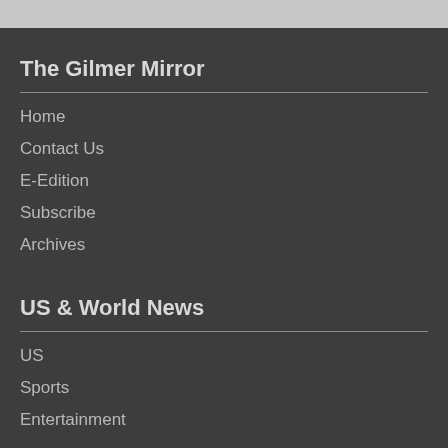The Gilmer Mirror
Home
Contact Us
E-Edition
Subscribe
Archives
US & World News
US
Sports
Entertainment